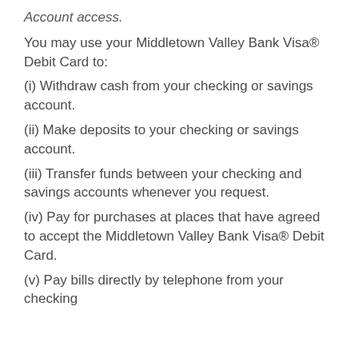Account access.
You may use your Middletown Valley Bank Visa® Debit Card to:
(i) Withdraw cash from your checking or savings account.
(ii) Make deposits to your checking or savings account.
(iii) Transfer funds between your checking and savings accounts whenever you request.
(iv) Pay for purchases at places that have agreed to accept the Middletown Valley Bank Visa® Debit Card.
(v) Pay bills directly by telephone from your checking